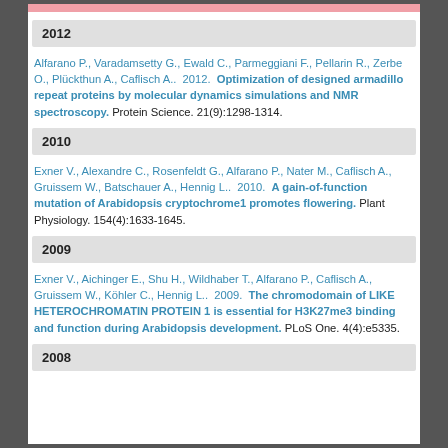2012
Alfarano P., Varadamsetty G., Ewald C., Parmeggiani F., Pellarin R., Zerbe O., Plückthun A., Caflisch A.. 2012. Optimization of designed armadillo repeat proteins by molecular dynamics simulations and NMR spectroscopy. Protein Science. 21(9):1298-1314.
2010
Exner V., Alexandre C., Rosenfeldt G., Alfarano P., Nater M., Caflisch A., Gruissem W., Batschauer A., Hennig L.. 2010. A gain-of-function mutation of Arabidopsis cryptochrome1 promotes flowering. Plant Physiology. 154(4):1633-1645.
2009
Exner V., Aichinger E., Shu H., Wildhaber T., Alfarano P., Caflisch A., Gruissem W., Köhler C., Hennig L.. 2009. The chromodomain of LIKE HETEROCHROMATIN PROTEIN 1 is essential for H3K27me3 binding and function during Arabidopsis development. PLoS One. 4(4):e5335.
2008